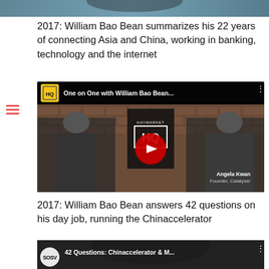[Figure (screenshot): Top partial image of a person, cropped header area]
2017: William Bao Bean summarizes his 22 years of connecting Asia and China, working in banking, technology and the internet
[Figure (screenshot): YouTube video thumbnail: One on One with William Bao Bean - Haymarket HQ channel. Two people seated in chairs in front of a brick wall with Haymarket HQ banner. Angela Kwan, Founder Catalyser label in bottom right. Red play button in center.]
2017: William Bao Bean answers 42 questions on his day job, running the Chinaccelerator
[Figure (screenshot): YouTube video thumbnail: 42 Questions: Chinaccelerator & M... - SOSV channel]